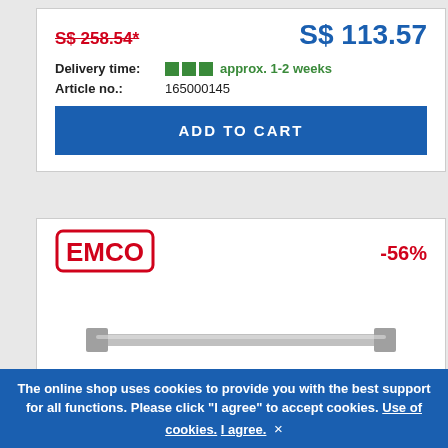S$ 258.54* (strikethrough, old price) | S$ 113.57 (current price)
Delivery time: approx. 1-2 weeks
Article no.: 165000145
ADD TO CART
[Figure (logo): EMCO brand logo in red bold outlined letters]
-56%
[Figure (photo): A long horizontal chrome/stainless steel towel bar with square end caps on a white background]
The online shop uses cookies to provide you with the best support for all functions. Please click "I agree" to accept cookies. Use of cookies. I agree. ×